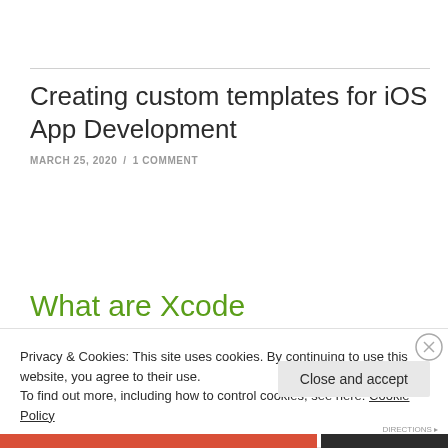Creating custom templates for iOS App Development
MARCH 25, 2020 / 1 COMMENT
What are Xcode
Privacy & Cookies: This site uses cookies. By continuing to use this website, you agree to their use.
To find out more, including how to control cookies, see here: Cookie Policy